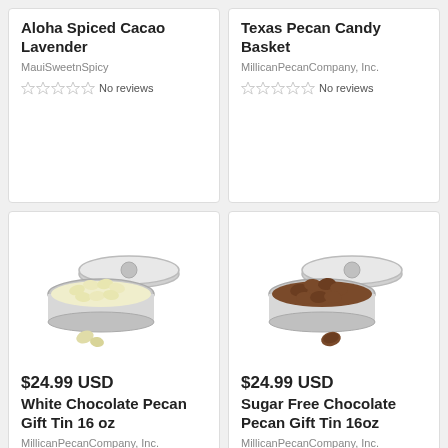Aloha Spiced Cacao Lavender
MauiSweetnSpicy
No reviews
Texas Pecan Candy Basket
MillicanPecanCompany, Inc.
No reviews
[Figure (photo): Silver tin open showing white chocolate pecans inside, with a couple loose pecans in front]
$24.99 USD
White Chocolate Pecan Gift Tin 16 oz
MillicanPecanCompany, Inc.
No reviews
[Figure (photo): Silver tin open showing chocolate covered pecans inside, with a single loose chocolate pecan in front]
$24.99 USD
Sugar Free Chocolate Pecan Gift Tin 16oz
MillicanPecanCompany, Inc.
No reviews